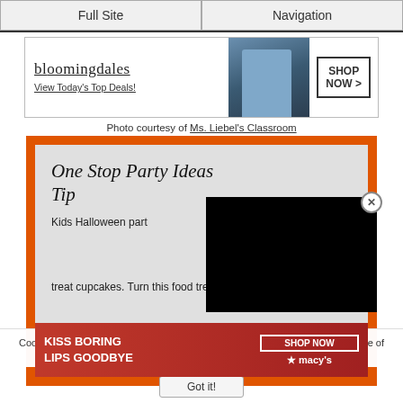Full Site | Navigation
[Figure (infographic): Bloomingdales advertisement: bloomingdales logo, 'View Today's Top Deals!', woman with hat, SHOP NOW button]
Photo courtesy of Ms. Liebel's Classroom
[Figure (infographic): Orange-framed card with inner grey panel showing 'One Stop Party Ideas Tips' title and 'Kids Halloween party' text, with a black video overlay and X close button, and a Macy's 'KISS BORING LIPS GOODBYE SHOP NOW' advertisement banner. Below text reads: treat cupcakes. Turn this food treat]
Cookies help us deliver our services. By using our services, you agree to our use of cookies. Learn more.
Got it!